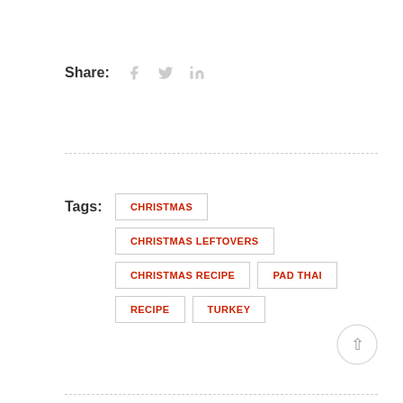Share:
Tags: CHRISTMAS   CHRISTMAS LEFTOVERS   CHRISTMAS RECIPE   PAD THAI   RECIPE   TURKEY